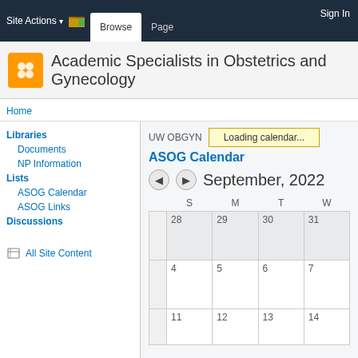Site Actions | Browse | Page | Sign In
Academic Specialists in Obstetrics and Gynecology
Home
Libraries
Documents
NP Information
Lists
ASOG Calendar
ASOG Links
Discussions
All Site Content
UW OBGYN
Loading calendar...
ASOG Calendar
September, 2022
[Figure (other): Calendar view for September 2022 showing dates 28-31 (Aug), 4-7, 11-14 with S M T W column headers]